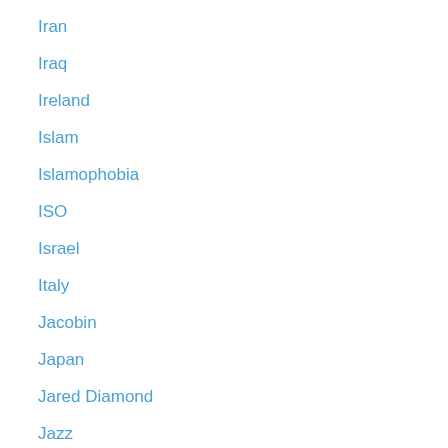Iran
Iraq
Ireland
Islam
Islamophobia
ISO
Israel
Italy
Jacobin
Japan
Jared Diamond
Jazz
Jeffrey Marlin
Jewish question
JFK
Jihadists
jingoism
journalism
Karl Marx biography
Kashmir